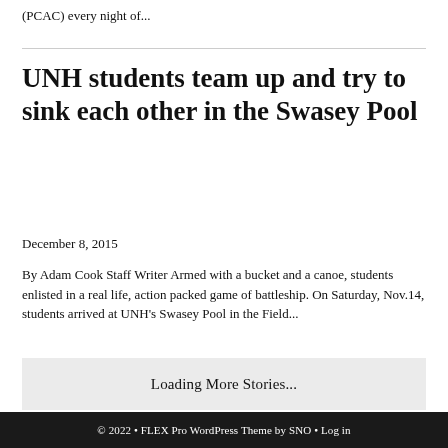(PCAC) every night of...
UNH students team up and try to sink each other in the Swasey Pool
December 8, 2015
By Adam Cook Staff Writer Armed with a bucket and a canoe, students enlisted in a real life, action packed game of battleship. On Saturday, Nov.14, students arrived at UNH's Swasey Pool in the Field...
Loading More Stories...
© 2022 • FLEX Pro WordPress Theme by SNO • Log in